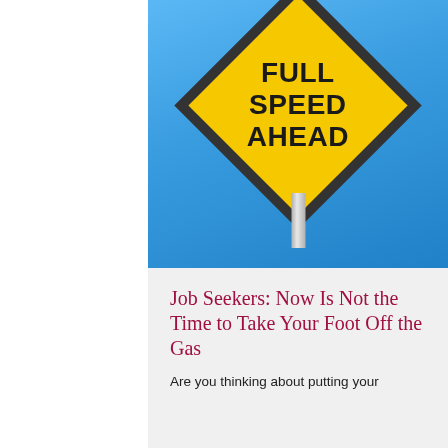[Figure (illustration): A yellow diamond-shaped road sign reading 'FULL SPEED AHEAD' in bold black capital letters, mounted on a metal pole, against a blue sky background.]
Job Seekers: Now Is Not the Time to Take Your Foot Off the Gas
Are you thinking about putting your